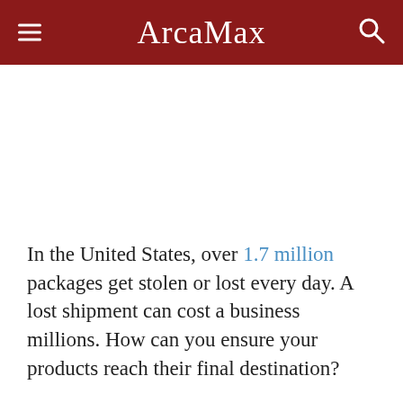ArcaMax
In the United States, over 1.7 million packages get stolen or lost every day. A lost shipment can cost a business millions. How can you ensure your products reach their final destination?
You need a reliable logistics trucking company. Finding one is challenging with hundreds of different freight companies available to you. Knowing what to look for will make the process easier.